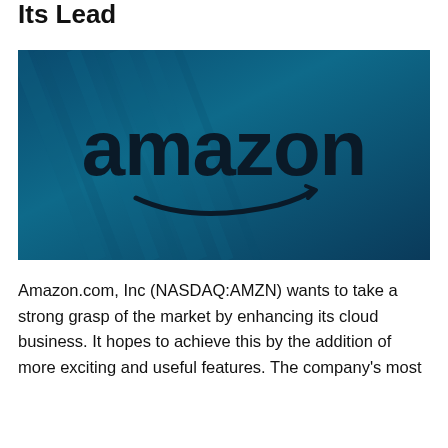Its Lead
[Figure (photo): Amazon logo on a blue-toned background. The word 'amazon' in large black lowercase letters with the signature arrow smile beneath it, set against a textured dark blue surface.]
Amazon.com, Inc (NASDAQ:AMZN) wants to take a strong grasp of the market by enhancing its cloud business. It hopes to achieve this by the addition of more exciting and useful features. The company's most